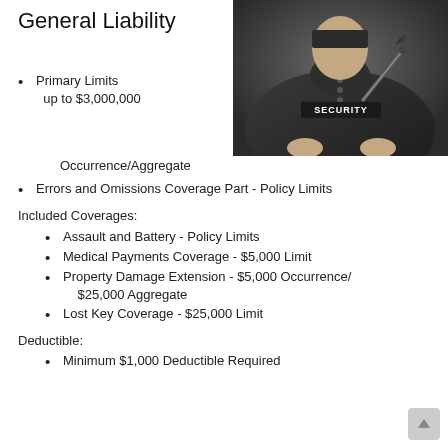General Liability
[Figure (photo): A security guard in a dark polo shirt with 'SECURITY' text, holding a baton or radio device]
Primary Limits up to $3,000,000
Occurrence/Aggregate
Errors and Omissions Coverage Part - Policy Limits
Included Coverages:
Assault and Battery - Policy Limits
Medical Payments Coverage - $5,000 Limit
Property Damage Extension - $5,000 Occurrence/ $25,000 Aggregate
Lost Key Coverage - $25,000 Limit
Deductible:
Minimum $1,000 Deductible Required